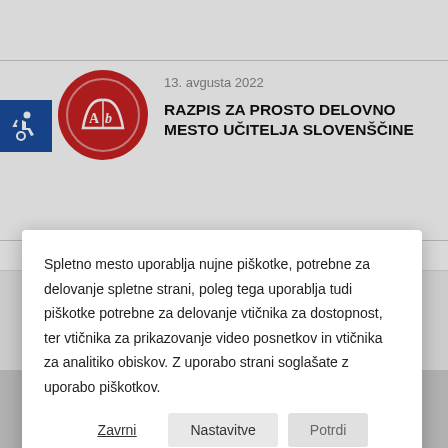13. avgusta 2022
RAZPIS ZA PROSTO DELOVNO MESTO UČITELJA SLOVENŠČINE
[Figure (logo): Red circular school logo with letters A and B on an open book]
[Figure (illustration): Accessibility icon - wheelchair symbol on blue background]
11. avgusta 2022
UREDITEV TERASE MLAJŠIH
[Figure (photo): Outdoor terrace or garden area thumbnail photo]
Spletno mesto uporablja nujne piškotke, potrebne za delovanje spletne strani, poleg tega uporablja tudi piškotke potrebne za delovanje vtičnika za dostopnost, ter vtičnika za prikazovanje video posnetkov in vtičnika za analitiko obiskov. Z uporabo strani soglašate z uporabo piškotkov.
Zavrni
Nastavitve
Potrdi
* ŠKOFIJSKA KLASIČNA GIMNAZIJA